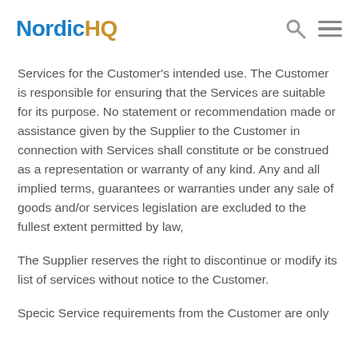NordicHQ
Services for the Customer's intended use. The Customer is responsible for ensuring that the Services are suitable for its purpose. No statement or recommendation made or assistance given by the Supplier to the Customer in connection with Services shall constitute or be construed as a representation or warranty of any kind. Any and all implied terms, guarantees or warranties under any sale of goods and/or services legislation are excluded to the fullest extent permitted by law,
The Supplier reserves the right to discontinue or modify its list of services without notice to the Customer.
Specic Service requirements from the Customer are only